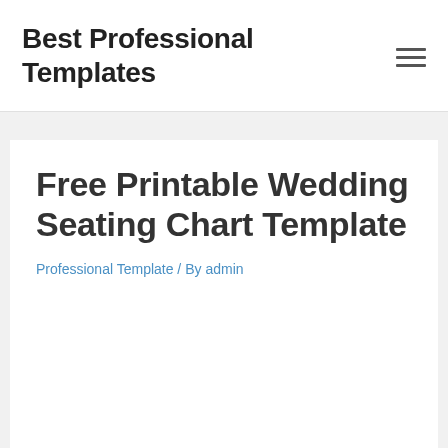Best Professional Templates
Free Printable Wedding Seating Chart Template
Professional Template / By admin